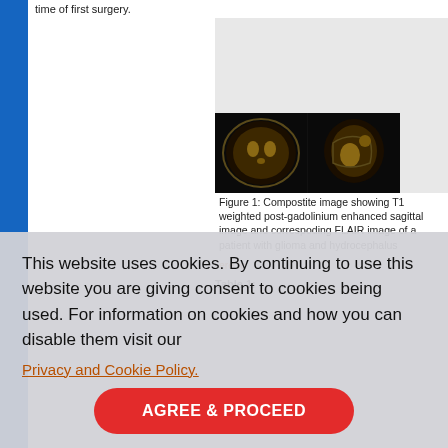time of first surgery.
[Figure (photo): MRI composite image showing T1 weighted post-gadolinium enhanced sagittal image and corresponding FLAIR image of a patient with glioma and hydrocephalus]
Figure 1: Compostite image showing T1 weighted post-gadolinium enhanced sagittal image and correspoding FLAIR image of a patient with glioma and hydrocephalus
This website uses cookies. By continuing to use this website you are giving consent to cookies being used. For information on cookies and how you can disable them visit our
Privacy and Cookie Policy.
AGREE & PROCEED
Table 1: